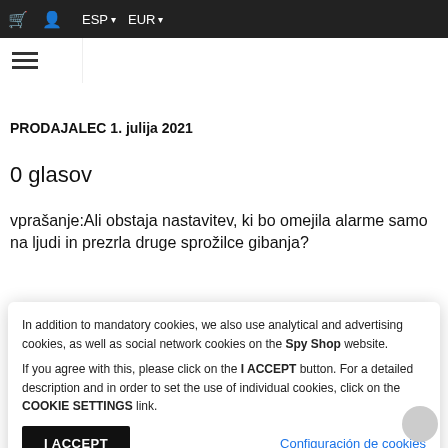Prepričajte se, da je vaša kamera vzpostavljena spletna povezava in povezana s telefonom, da boste lahko videli video sliko na telefonu.
PRODAJALEC 1. julija 2021
0 glasov
vprašanje:Ali obstaja nastavitev, ki bo omejila alarme samo na ljudi in prezrla druge sprožilce gibanja?
In addition to mandatory cookies, we also use analytical and advertising cookies, as well as social network cookies on the Spy Shop website. If you agree with this, please click on the I ACCEPT button. For a detailed description and in order to set the use of individual cookies, click on the COOKIE SETTINGS link.
I ACCEPT
Configuración de cookies